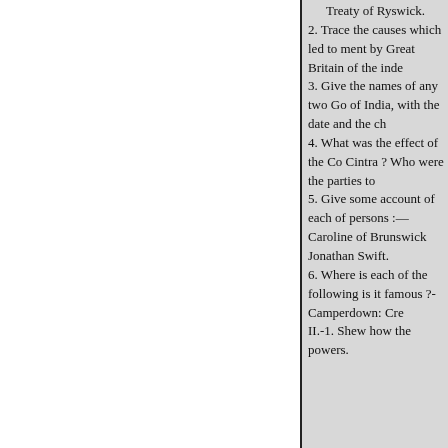Treaty of Ryswick.
2. Trace the causes which led to ment by Great Britain of the inde
3. Give the names of any two Go of India, with the date and the ch
4. What was the effect of the Co Cintra ? Who were the parties to
5. Give some account of each of persons :—Caroline of Brunswick Jonathan Swift.
6. Where is each of the following is it famous ?- Camperdown: Cre
II.-1. Shew how the powers.